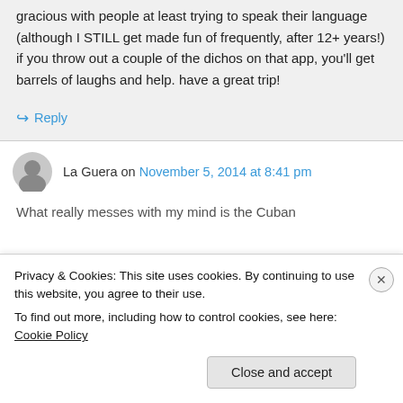gracious with people at least trying to speak their language (although I STILL get made fun of frequently, after 12+ years!) if you throw out a couple of the dichos on that app, you'll get barrels of laughs and help. have a great trip!
↪ Reply
La Guera on November 5, 2014 at 8:41 pm
What really messes with my mind is the Cuban...
Privacy & Cookies: This site uses cookies. By continuing to use this website, you agree to their use.
To find out more, including how to control cookies, see here: Cookie Policy
Close and accept